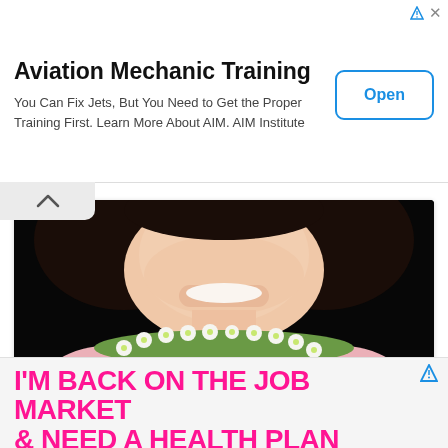[Figure (photo): Advertisement banner for Aviation Mechanic Training with Open button]
Aviation Mechanic Training
You Can Fix Jets, But You Need to Get the Proper Training First. Learn More About AIM. AIM Institute
[Figure (photo): Photo of a young girl with dark hair, wearing a pink ruffled dress and a flower lei necklace, smiling against a black background]
Anyone recognize her bubble crown?
★ ★ ★
Last call for the giveaway!
[Figure (screenshot): Advertisement banner with pink bold text: I'M BACK ON THE JOB MARKET & NEED A HEALTH PLAN]